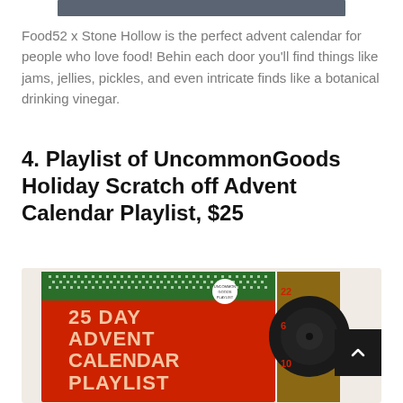[Figure (photo): Partial image of a product at the top of the page, dark gray/slate colored bar visible]
Food52 x Stone Hollow is the perfect advent calendar for people who love food! Behin each door you'll find things like jams, jellies, pickles, and even intricate finds like a botanical drinking vinegar.
4. Playlist of UncommonGoods Holiday Scratch off Advent Calendar Playlist, $25
[Figure (photo): Product photo of the UncommonGoods 25 Day Advent Calendar Playlist — a red card with green nordic-pattern border showing text '25 DAY ADVENT CALENDAR PLAYLIST', alongside a vinyl record on a wooden board.]